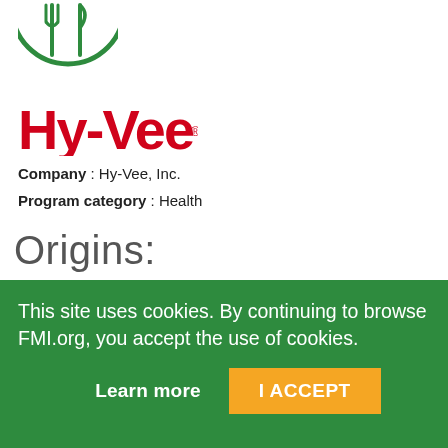[Figure (logo): Partial green circle icon with fork and knife utensils (FMI logo icon), cropped at top of page]
[Figure (logo): Hy-Vee logo in red bold stylized text with registered trademark symbol]
Company : Hy-Vee, Inc.
Program category : Health
Origins:
One in three kids in the United States are either overweight or obese, putting them at risk for a
This site uses cookies. By continuing to browse FMI.org, you accept the use of cookies.
Learn more
I ACCEPT